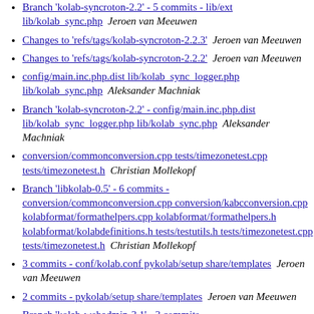Branch 'kolab-syncroton-2.2' - 5 commits - lib/ext lib/kolab_sync.php  Jeroen van Meeuwen
Changes to 'refs/tags/kolab-syncroton-2.2.3'  Jeroen van Meeuwen
Changes to 'refs/tags/kolab-syncroton-2.2.2'  Jeroen van Meeuwen
config/main.inc.php.dist lib/kolab_sync_logger.php lib/kolab_sync.php  Aleksander Machniak
Branch 'kolab-syncroton-2.2' - config/main.inc.php.dist lib/kolab_sync_logger.php lib/kolab_sync.php  Aleksander Machniak
conversion/commonconversion.cpp tests/timezonetest.cpp tests/timezonetest.h  Christian Mollekopf
Branch 'libkolab-0.5' - 6 commits - conversion/commonconversion.cpp conversion/kabcconversion.cpp kolabformat/formathelpers.cpp kolabformat/formathelpers.h kolabformat/kolabdefinitions.h tests/testutils.h tests/timezonetest.cpp tests/timezonetest.h  Christian Mollekopf
3 commits - conf/kolab.conf pykolab/setup share/templates  Jeroen van Meeuwen
2 commits - pykolab/setup share/templates  Jeroen van Meeuwen
Branch 'kolab-webadmin-3.1' - 3 commits -